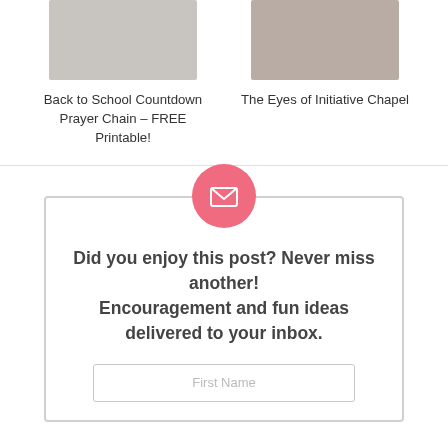[Figure (photo): Photo of colorful wristbands/paper chains stacked]
Back to School Countdown Prayer Chain – FREE Printable!
[Figure (photo): Photo of a smiling woman with curly hair in a brown top]
The Eyes of Initiative Chapel
[Figure (illustration): Pink circle with white envelope/mail icon]
Did you enjoy this post? Never miss another! Encouragement and fun ideas delivered to your inbox.
First Name